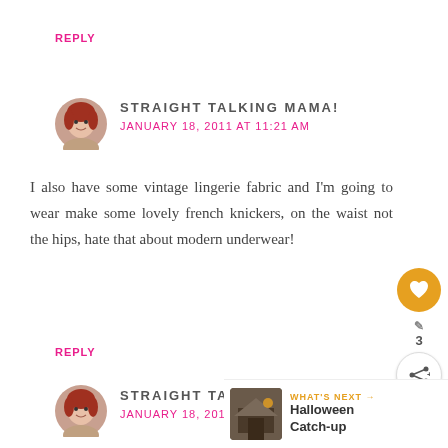REPLY
[Figure (photo): Circular avatar photo of a woman with red hair]
STRAIGHT TALKING MAMA!
JANUARY 18, 2011 AT 11:21 AM
I also have some vintage lingerie fabric and I'm going to wear make some lovely french knickers, on the waist not the hips, hate that about modern underwear!
REPLY
[Figure (photo): Circular avatar photo of a woman with red hair]
STRAIGHT TALKING MAMA!
JANUARY 18, 2011 AT 11:21 AM
[Figure (infographic): What's Next panel with Halloween Catch-up thumbnail and navigation arrow]